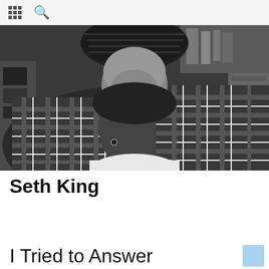grid icon, search icon
[Figure (photo): Black and white close-up photograph of a person wearing a plaid flannel shirt and a knitted hat, sitting at a table with a white cup/bowl in front of them. Background shows shelves.]
Seth King
I Tried to Answer